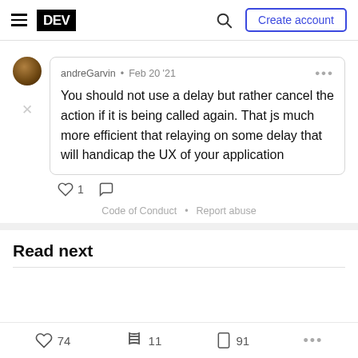DEV · Search · Create account
andreGarvin · Feb 20 '21
You should not use a delay but rather cancel the action if it is being called again. That js much more efficient that relaying on some delay that will handicap the UX of your application
♡ 1  ○
Code of Conduct · Report abuse
Read next
♡ 74  ≋ 11  □ 91  ...